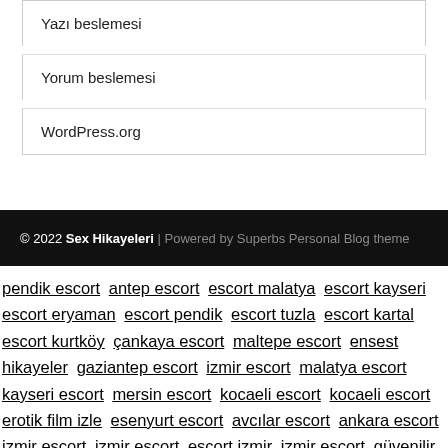Yazı beslemesi
Yorum beslemesi
WordPress.org
© 2022 Sex Hikayeleri | Powered by Superbs Personal Blog theme
pendik escort antep escort escort malatya escort kayseri escort eryaman escort pendik escort tuzla escort kartal escort kurtköy çankaya escort maltepe escort ensest hikayeler gaziantep escort izmir escort malatya escort kayseri escort mersin escort kocaeli escort kocaeli escort erotik film izle esenyurt escort avcılar escort ankara escort izmir escort izmir escort escort izmir izmir escort güvenilir bahis kaçak bahis bahis siteleri canlı bahis bahis siteleri canlı bahis